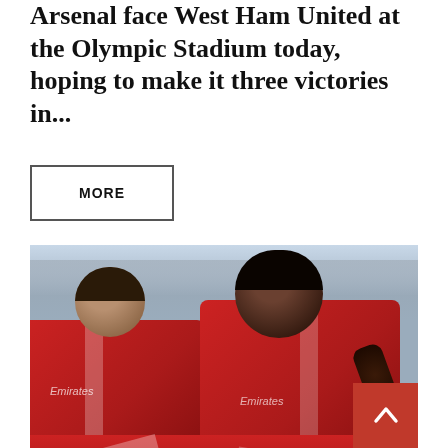Arsenal face West Ham United at the Olympic Stadium today, hoping to make it three victories in...
MORE
[Figure (photo): Arsenal football players in red Emirates-sponsored jerseys celebrating, group huddle, two players visible from above looking down, stadium structure visible in background]